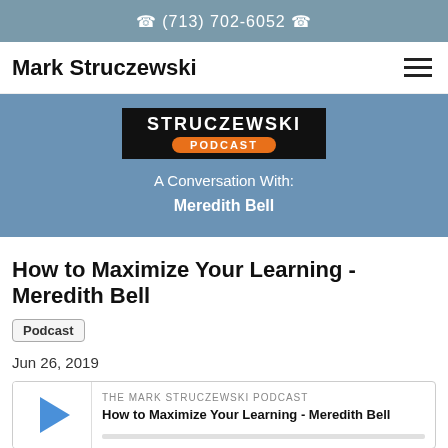☎ (713) 702-6052 ☎
Mark Struczewski
[Figure (illustration): Struczewski Podcast banner image with blue background showing logo with black box containing 'STRUCZEWSKI' text and orange 'PODCAST' pill, subtitle reads 'A Conversation With: Meredith Bell']
How to Maximize Your Learning - Meredith Bell
Podcast
Jun 26, 2019
[Figure (screenshot): Podcast player widget showing play button, 'THE MARK STRUCZEWSKI PODCAST' label, episode title 'How to Maximize Your Learning - Meredith Bell', and a progress bar]